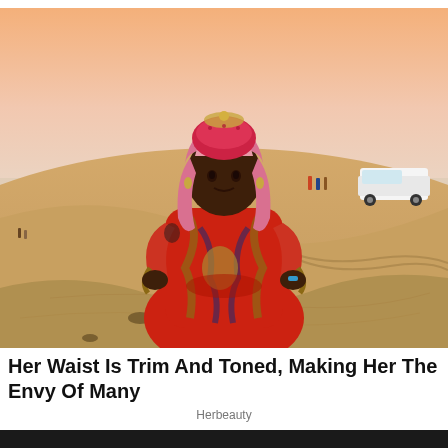[Figure (photo): Woman in colorful red and gold patterned bodysuit and pink keffiyeh headscarf, posing with hands on hips on a desert sand dune, with a white SUV and people visible in the background against a hazy sunset sky.]
Her Waist Is Trim And Toned, Making Her The Envy Of Many
Herbeauty
[Figure (photo): Partial view of a round gold/metallic object on a dark background, cropped at bottom of page.]